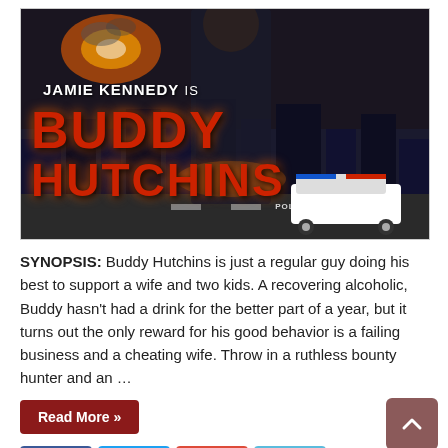[Figure (photo): Movie poster for 'Buddy Hutchins' featuring Jamie Kennedy. Large red stylized text reads 'BUDDY HUTCHINS' over a dark action scene background with explosions and a police car.]
SYNOPSIS: Buddy Hutchins is just a regular guy doing his best to support a wife and two kids. A recovering alcoholic, Buddy hasn't had a drink for the better part of a year, but it turns out the only reward for his good behavior is a failing business and a cheating wife. Throw in a ruthless bounty hunter and an …
Read More »
[Figure (infographic): Social sharing buttons: Facebook (blue), Twitter (light blue), Google+ (red), LinkedIn (light blue)]